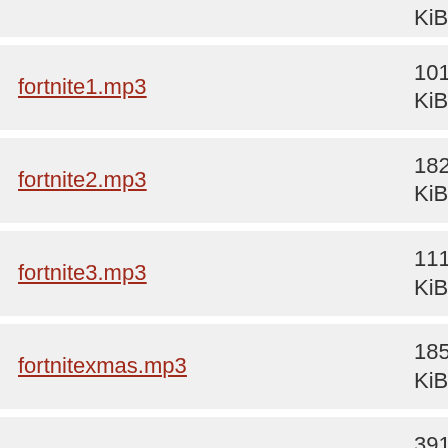| Filename | Size |
| --- | --- |
| fortnite1.mp3 | 101 KiB |
| fortnite2.mp3 | 182 KiB |
| fortnite3.mp3 | 111 KiB |
| fortnitexmas.mp3 | 185 KiB |
| fortunatesun.mp3 | 391 KiB |
| forwhat.mp3 | 46.5 KiB |
| fourside.mp3 | 1.9 MiB |